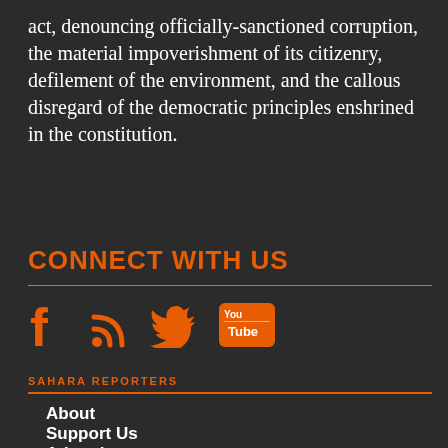act, denouncing officially-sanctioned corruption, the material impoverishment of its citizenry, defilement of the environment, and the callous disregard of the democratic principles enshrined in the constitution.
CONNECT WITH US
[Figure (infographic): Social media icons: Facebook, RSS feed, Twitter, YouTube in orange color]
SAHARA REPORTERS
About
Support Us
Advertise